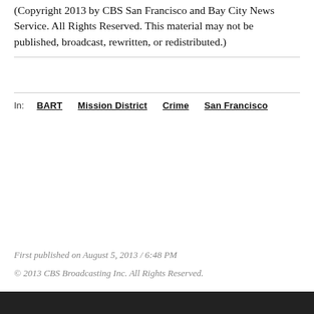(Copyright 2013 by CBS San Francisco and Bay City News Service. All Rights Reserved. This material may not be published, broadcast, rewritten, or redistributed.)
In: BART  Mission District  Crime  San Francisco
First published on August 5, 2013 / 6:48 PM
© 2013 CBS Broadcasting Inc. All Rights Reserved.